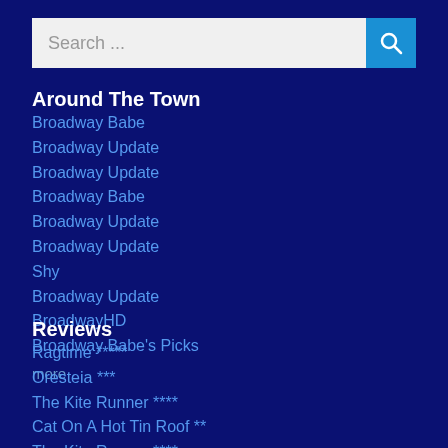[Figure (screenshot): Search bar with text input field showing 'Search ...' placeholder and a blue search button with magnifying glass icon]
Around The Town
Broadway Babe
Broadway Update
Broadway Update
Broadway Babe
Broadway Update
Broadway Update
Shy
Broadway Update
BroadwayHD
Broadway Babe's Picks
more
Reviews
Ragtime *****
Oresteia ***
The Kite Runner ****
Cat On A Hot Tin Roof **
The Kite Runner ****